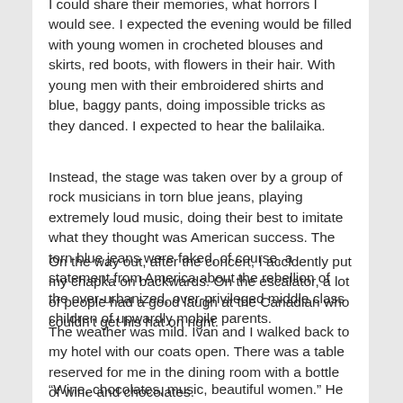I could share their memories, what horrors I would see. I expected the evening would be filled with young women in crocheted blouses and skirts, red boots, with flowers in their hair. With young men with their embroidered shirts and blue, baggy pants, doing impossible tricks as they danced. I expected to hear the balilaika.
Instead, the stage was taken over by a group of rock musicians in torn blue jeans, playing extremely loud music, doing their best to imitate what they thought was American success. The torn blue jeans were faked, of course, a statement from America about the rebellion of the over-urbanized, over-privileged middle class children of upwardly mobile parents.
On the way out, after the concert, I accidently put my chapka on backwards. On the escalator, a lot of people had a good laugh at the Canadian who couldn't get his hat on right.
The weather was mild. Ivan and I walked back to my hotel with our coats open. There was a table reserved for me in the dining room with a bottle of wine and chocolates.
“Wine, chocolates, music, beautiful women.” He waved his hand at the room packed with people already partying